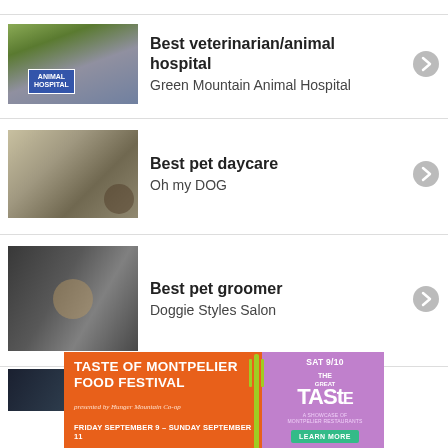Best veterinarian/animal hospital — Green Mountain Animal Hospital
Best pet daycare — Oh my DOG
Best pet groomer — Doggie Styles Salon
Best dog training company
[Figure (infographic): Advertisement banner for Taste of Montpelier Food Festival, presented by Hunger Mountain Co-op. Friday September 9 - Sunday September 11. SAT 9/10. The Great TASTE - A Showcase of Montpelier Restaurants. Learn More.]